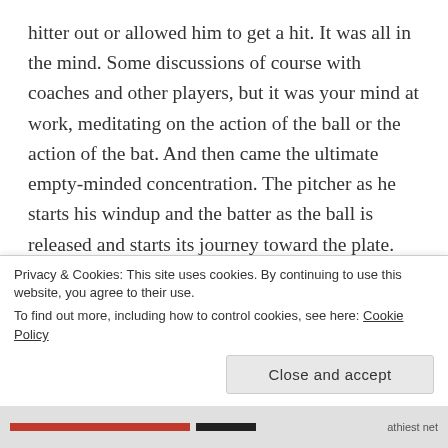hitter out or allowed him to get a hit. It was all in the mind. Some discussions of course with coaches and other players, but it was your mind at work, meditating on the action of the ball or the action of the bat. And then came the ultimate empty-minded concentration. The pitcher as he starts his windup and the batter as the ball is released and starts its journey toward the plate. There is no more thought from either pitcher or batter at that point. It's a pure moment of being in the now, a Zen moment if you will, because there is action involved and automatic reaction, thought-less reaction. And then it's over...
Privacy & Cookies: This site uses cookies. By continuing to use this website, you agree to their use.
To find out more, including how to control cookies, see here: Cookie Policy
Close and accept